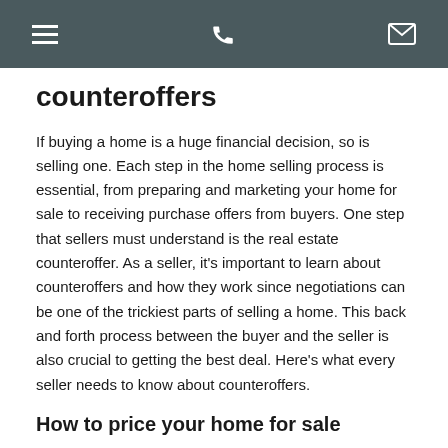[navigation bar with hamburger menu, phone icon, and email icon]
counteroffers
If buying a home is a huge financial decision, so is selling one. Each step in the home selling process is essential, from preparing and marketing your home for sale to receiving purchase offers from buyers. One step that sellers must understand is the real estate counteroffer. As a seller, it's important to learn about counteroffers and how they work since negotiations can be one of the trickiest parts of selling a home. This back and forth process between the buyer and the seller is also crucial to getting the best deal. Here's what every seller needs to know about counteroffers.
How to price your home for sale
One of the most frequently asked questions we get from home sellers is “What is the best listing price for my